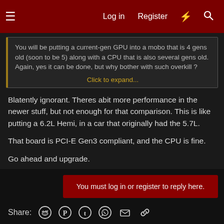☰   Log in   Register   ⚡   🔍
You will be putting a current-gen GPU into a mobo that is 4 gens old (soon to be 5) along with a CPU that is also several gens old. Again, yes it can be done, but why bother with such overkill ?
Click to expand...
Blatently ignorant. Theres abit more performance in the newer stuff, but not enough for that comparison. This is like putting a 6.2L Hemi, in a car that originally had the 5.7L.

That board is PCI-E Gen3 compliant, and the CPU is fine.

Go ahead and upgrade.
You must log in or register to reply here.
Share: